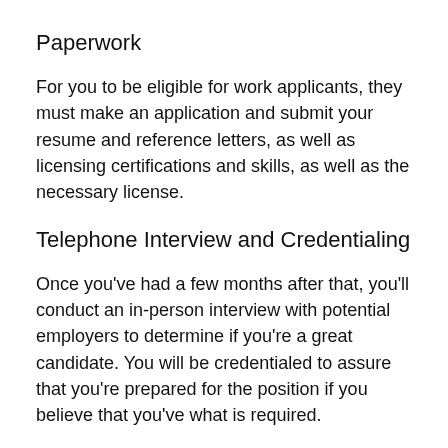Paperwork
For you to be eligible for work applicants, they must make an application and submit your resume and reference letters, as well as licensing certifications and skills, as well as the necessary license.
Telephone Interview and Credentialing
Once you've had a few months after that, you'll conduct an in-person interview with potential employers to determine if you're a great candidate. You will be credentialed to assure that you're prepared for the position if you believe that you've what is required.
It isn't as simple as just buying a ticket to travel and showing up in the workplace. However, if one sticks in